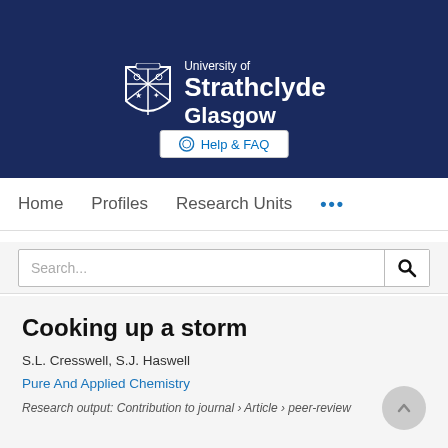[Figure (logo): University of Strathclyde Glasgow logo with shield and white text on dark blue background]
Help & FAQ
Home   Profiles   Research Units   ...
Search...
Cooking up a storm
S.L. Cresswell, S.J. Haswell
Pure And Applied Chemistry
Research output: Contribution to journal › Article › peer-review